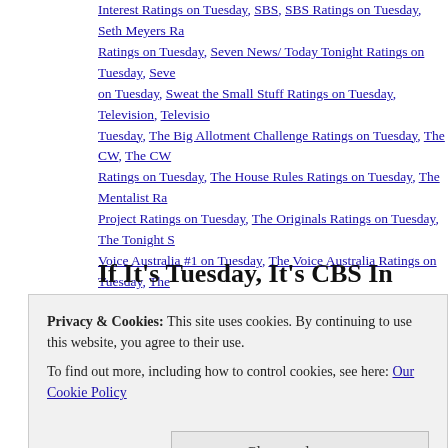Interest Ratings on Tuesday, SBS, SBS Ratings on Tuesday, Seth Meyers Ratings on Tuesday, Seven News/ Today Tonight Ratings on Tuesday, Seven on Tuesday, Sweat the Small Stuff Ratings on Tuesday, Television, Television Tuesday, The Big Allotment Challenge Ratings on Tuesday, The CW, The CW Ratings on Tuesday, The House Rules Ratings on Tuesday, The Mentalist Ratings Project Ratings on Tuesday, The Originals Ratings on Tuesday, The Tonight Show Voice Australia #1 on Tuesday, The Voice Australia Ratings on Tuesday, The network on Tuesday, TNT Top Cable Network for week of April 28, Today In T Week of April 28, Trophy Wife Ratings on Tuesday, TV, TV Ratings in Australia TV Ratings for Tuesday, Update on The Millennium Report, Waterman: A Dirt comment
If It's Tuesday, It's CBS In The U.S. BBC O Seven Dominates In Australia.
Posted on April 30, 2014 by overtheshouldermlb
Privacy & Cookies: This site uses cookies. By continuing to use this website, you agree to their use. To find out more, including how to control cookies, see here: Our Cookie Policy
Close and accept
UK Broadcast TV Ratings in US Cable TV Ratings Daily Broadcast Ratings s If UK Broadcast TV Ratings in US Cable TV Ratings Daily Broadcast R